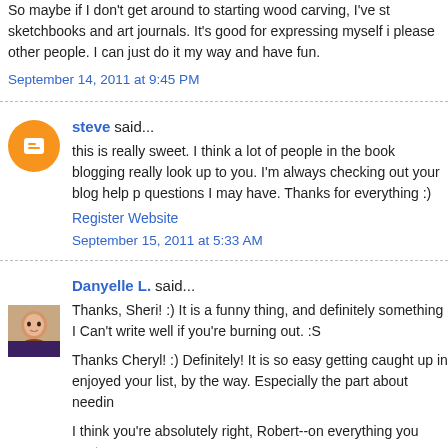So maybe if I don't get around to starting wood carving, I've st sketchbooks and art journals. It's good for expressing myself i please other people. I can just do it my way and have fun.
September 14, 2011 at 9:45 PM
steve said...
this is really sweet. I think a lot of people in the book blogging really look up to you. I'm always checking out your blog help p questions I may have. Thanks for everything :)
Register Website
September 15, 2011 at 5:33 AM
Danyelle L. said...
Thanks, Sheri! :) It is a funny thing, and definitely something I Can't write well if you're burning out. :S
Thanks Cheryl! :) Definitely! It is so easy getting caught up in enjoyed your list, by the way. Especially the part about needin
I think you're absolutely right, Robert--on everything you poste